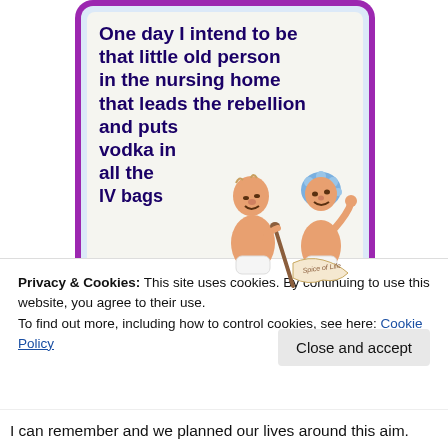[Figure (illustration): Humorous greeting card with purple border and light blue inner border on cream background. Bold dark purple text reads: 'One day I intend to be that little old person in the nursing home that leads the rebellion and puts vodka in all the IV bags'. A cartoon illustration of two elderly people (one male with a cane, one female with blue hair) appears in the lower right of the card.]
Privacy & Cookies: This site uses cookies. By continuing to use this website, you agree to their use.
To find out more, including how to control cookies, see here: Cookie Policy
Close and accept
I can remember and we planned our lives around this aim.